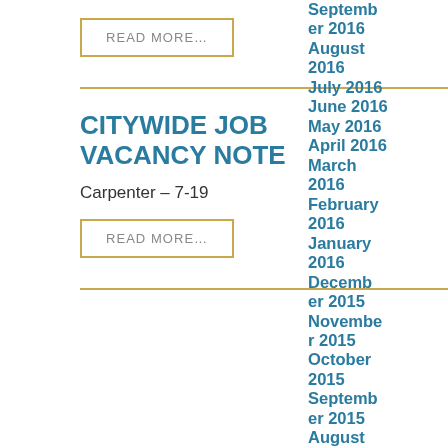READ MORE...
CITYWIDE JOB VACANCY NOTE
Carpenter – 7-19
READ MORE...
September 2016
August 2016
July 2016
June 2016
May 2016
April 2016
March 2016
February 2016
January 2016
December 2015
November 2015
October 2015
September 2015
August 2015